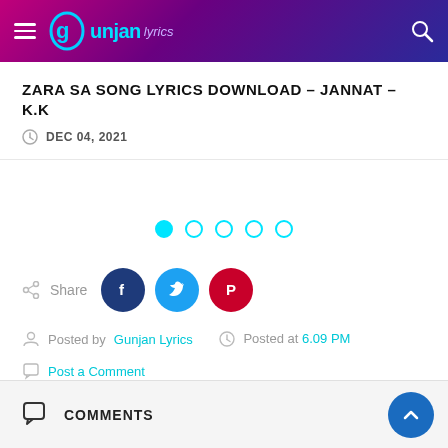Gunjan Lyrics
ZARA SA SONG LYRICS DOWNLOAD – JANNAT – K.K
DEC 04, 2021
[Figure (infographic): Pagination dots: one filled cyan dot followed by four empty cyan-outlined dots]
Share
[Figure (infographic): Social share buttons: Facebook (dark blue circle), Twitter (blue circle), Pinterest (red circle)]
Posted by Gunjan Lyrics   Posted at 6.09 PM
Post a Comment
Labels #Papon, #Pritam
COMMENTS